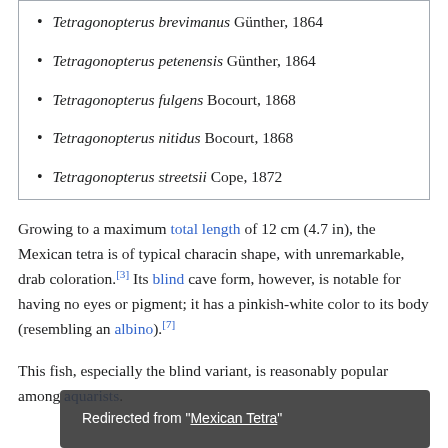Tetragonopterus brevimanus Günther, 1864
Tetragonopterus petenensis Günther, 1864
Tetragonopterus fulgens Bocourt, 1868
Tetragonopterus nitidus Bocourt, 1868
Tetragonopterus streetsii Cope, 1872
Growing to a maximum total length of 12 cm (4.7 in), the Mexican tetra is of typical characin shape, with unremarkable, drab coloration.[3] Its blind cave form, however, is notable for having no eyes or pigment; it has a pinkish-white color to its body (resembling an albino).[7]
This fish, especially the blind variant, is reasonably popular among aquarists.
Redirected from "Mexican Tetra"